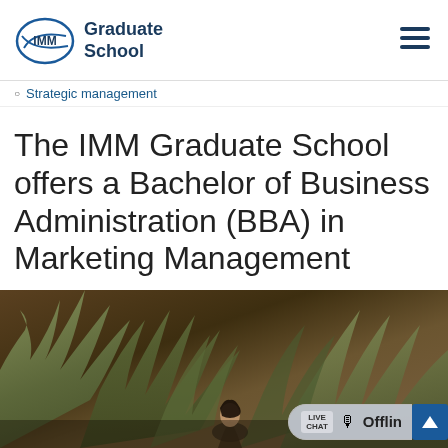[Figure (logo): IMM Graduate School logo with oval shape and 'IMM' text inside, alongside 'Graduate School' text]
Strategic management
The IMM Graduate School offers a Bachelor of Business Administration (BBA) in Marketing Management
[Figure (photo): A woman standing among tall tropical foliage/plants, with a live chat widget overlay showing 'LIVE CHAT Offline']